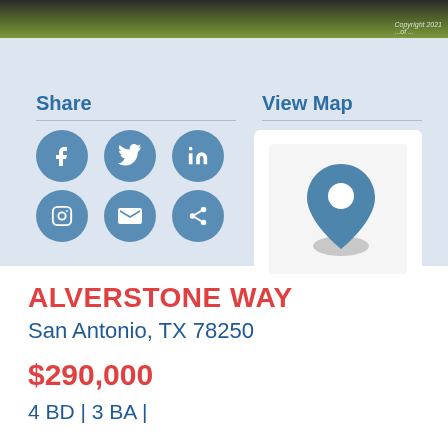[Figure (photo): Outdoor landscape photo strip at top of page showing green foliage/grass with a copyright notice]
[Figure (infographic): Share and View Map section on light blue background. Share section has 6 social media icon circles: Facebook, Twitter, LinkedIn, Instagram, Email, Share. View Map section shows a map placeholder with a location pin icon.]
ALVERSTONE WAY
San Antonio, TX 78250
$290,000
4 BD | 3 BA |